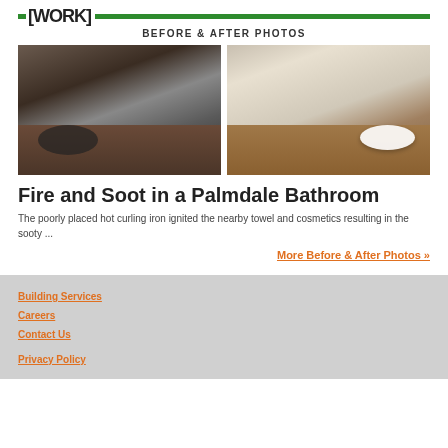OUR [WORK] BEFORE & AFTER PHOTOS
[Figure (photo): Before photo: bathroom vanity with dark countertop covered in cosmetics and soot damage after fire]
[Figure (photo): After photo: same bathroom vanity with clean white countertop and white sinks after restoration]
Fire and Soot in a Palmdale Bathroom
The poorly placed hot curling iron ignited the nearby towel and cosmetics resulting in the sooty ...
More Before & After Photos »
Building Services
Careers
Contact Us
Privacy Policy